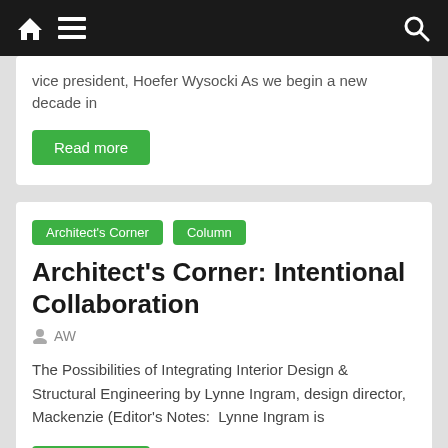Navigation bar with home, menu, and search icons
vice president, Hoefer Wysocki As we begin a new decade in
Read more
Architect's Corner    Column
Architect's Corner: Intentional Collaboration
AW
The Possibilities of Integrating Interior Design & Structural Engineering by Lynne Ingram, design director, Mackenzie (Editor's Notes:  Lynne Ingram is
Read more